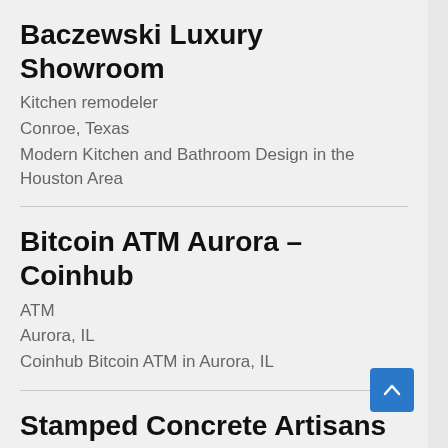Baczewski Luxury Showroom
Kitchen remodeler
Conroe, Texas
Modern Kitchen and Bathroom Design in the Houston Area
Bitcoin ATM Aurora – Coinhub
ATM
Aurora, IL
Coinhub Bitcoin ATM in Aurora, IL
Stamped Concrete Artisans
Concrete contractor